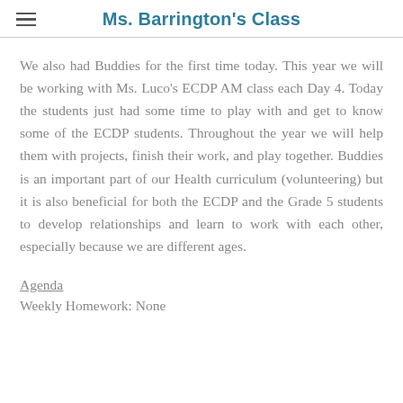Ms. Barrington's Class
We also had Buddies for the first time today. This year we will be working with Ms. Luco's ECDP AM class each Day 4. Today the students just had some time to play with and get to know some of the ECDP students. Throughout the year we will help them with projects, finish their work, and play together. Buddies is an important part of our Health curriculum (volunteering) but it is also beneficial for both the ECDP and the Grade 5 students to develop relationships and learn to work with each other, especially because we are different ages.
Agenda
Weekly Homework: None